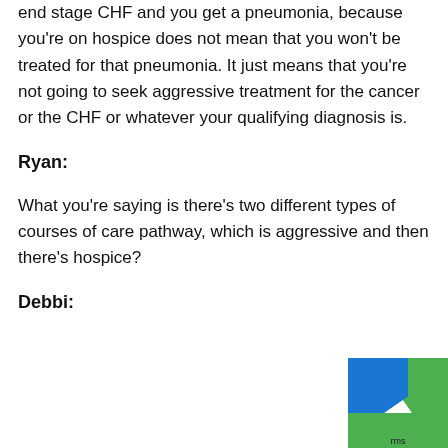end stage CHF and you get a pneumonia, because you're on hospice does not mean that you won't be treated for that pneumonia. It just means that you're not going to seek aggressive treatment for the cancer or the CHF or whatever your qualifying diagnosis is.
Ryan:
What you're saying is there's two different types of courses of care pathway, which is aggressive and then there's hospice?
Debbi: